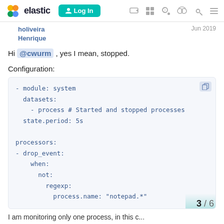elastic | Log In
holiveira
Henrique
Jun 2019
Hi @cwurm , yes I mean, stopped.
Configuration:
- module: system
  datasets:
    - process # Started and stopped processes
  state.period: 5s

processors:
- drop_event:
    when:
      not:
        regexp:
          process.name: "notepad.*"
3 / 6
I am monitoring only one process, in this c...